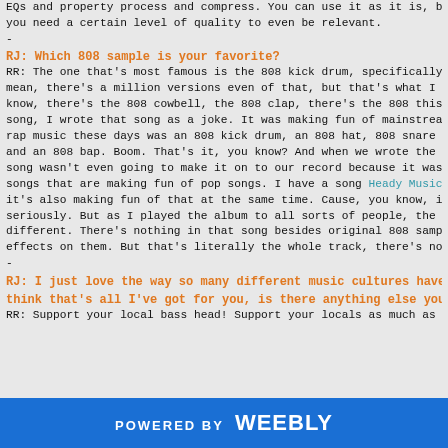EQs and property process and compress. You can use it as it is, but it's su you need a certain level of quality to even be relevant.
-
RJ: Which 808 sample is your favorite?
RR: The one that's most famous is the 808 kick drum, specifically the or mean, there's a million versions even of that, but that's what I use. That's know, there's the 808 cowbell, the 808 clap, there's the 808 this the 808 th song, I wrote that song as a joke. It was making fun of mainstream rap mu rap music these days was an 808 kick drum, an 808 hat, 808 snare drum, 80 and an 808 bap. Boom. That's it, you know? And when we wrote the song song wasn't even going to make it on to our record because it was just so songs that are making fun of pop songs. I have a song Heady Music with it's also making fun of that at the same time. Cause, you know, it's ent seriously. But as I played the album to all sorts of people, the 808 song different. There's nothing in that song besides original 808 samples and a S effects on them. But that's literally the whole track, there's nothing that wa
-
RJ: I just love the way so many different music cultures have beco think that's all I've got for you, is there anything else you want to a
RR: Support your local bass head! Support your locals as much as you
POWERED BY weebly